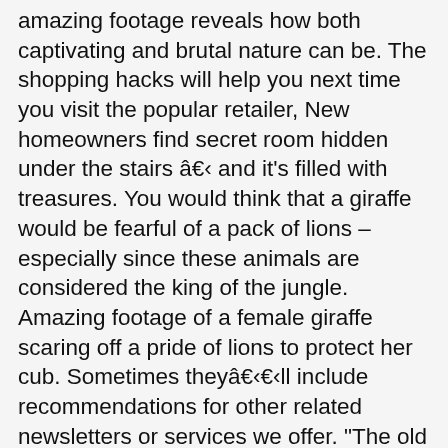amazing footage reveals how both captivating and brutal nature can be. The shopping hacks will help you next time you visit the popular retailer, New homeowners find secret room hidden under the stairs â and it's filled with treasures. You would think that a giraffe would be fearful of a pack of lions – especially since these animals are considered the king of the jungle. Amazing footage of a female giraffe scaring off a pride of lions to protect her cub. Sometimes theyâll include recommendations for other related newsletters or services we offer. "The old bull giraffe, fighting to stay standing, managed to throw the lions off his back and fought his way out by trying to stomp on the lions," the video's description reads. Leave a Comment. A pride of lions does its worst but one animal limps away after a potentially deadly goring. ", When you subscribe we will use the information you provide to send you these newsletters. In the amazing clip, recorded by Thokozani Phakathi, a giraffe can be seen completely surrounded by a hunting group of lionesses – estimated to be eight animals strong. The lions stalked the